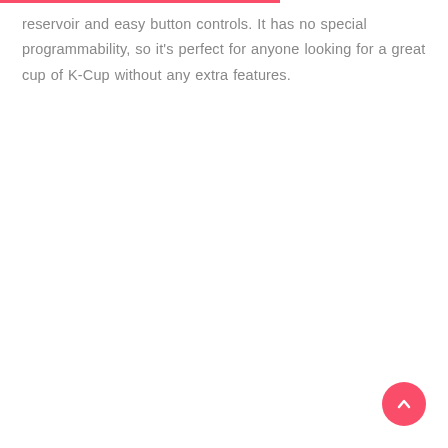reservoir and easy button controls. It has no special programmability, so it's perfect for anyone looking for a great cup of K-Cup without any extra features.
[Figure (other): A circular pink/red scroll-to-top button with an upward-pointing chevron arrow, positioned in the bottom-right corner of the page.]